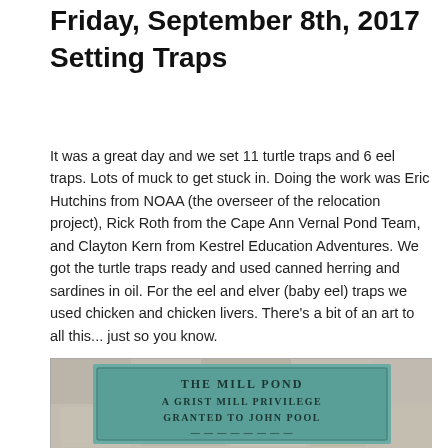Friday, September 8th, 2017
Setting Traps
It was a great day and we set 11 turtle traps and 6 eel traps. Lots of muck to get stuck in. Doing the work was Eric Hutchins from NOAA (the overseer of the relocation project), Rick Roth from the Cape Ann Vernal Pond Team, and Clayton Kern from Kestrel Education Adventures. We got the turtle traps ready and used canned herring and sardines in oil. For the eel and elver (baby eel) traps we used chicken and chicken livers. There's a bit of an art to all this... just so you know.
[Figure (photo): Photo of a teal/green metal plaque on a stone surface. The plaque reads 'THE MILL POND / A GRIST MILL PRIVILEGE / GRANTED TO JOHN POOL' and additional text cut off at the bottom.]